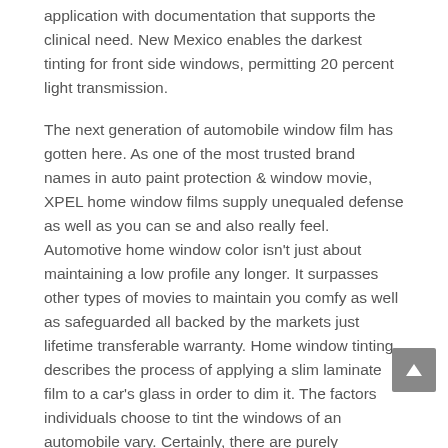application with documentation that supports the clinical need. New Mexico enables the darkest tinting for front side windows, permitting 20 percent light transmission.
The next generation of automobile window film has gotten here. As one of the most trusted brand names in auto paint protection & window movie, XPEL home window films supply unequaled defense as well as you can se and also really feel. Automotive home window color isn't just about maintaining a low profile any longer. It surpasses other types of movies to maintain you comfy as well as safeguarded all backed by the markets just lifetime transferable warranty. Home window tinting describes the process of applying a slim laminate film to a car's glass in order to dim it. The factors individuals choose to tint the windows of an automobile vary. Certainly, there are purely aesthetic factors too for using car window color.
Improve The Design As Well As